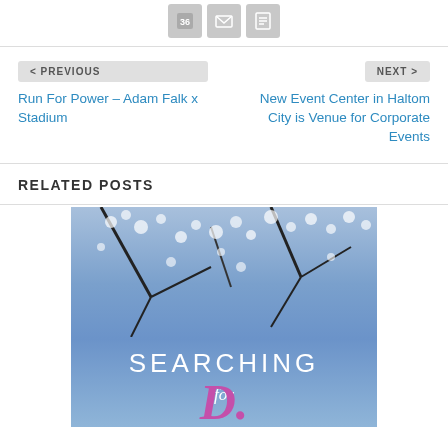[Figure (screenshot): Social sharing icon buttons (share count 36, email, print) displayed as grey rounded square buttons]
< PREVIOUS
Run For Power – Adam Falk x Stadium
NEXT >
New Event Center in Haltom City is Venue for Corporate Events
RELATED POSTS
[Figure (photo): Photo of cherry blossom trees against a blue sky with text overlay reading SEARCHING for and a cursive letter]